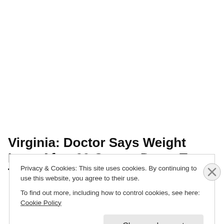Virginia: Doctor Says Weight Loss After 60 Comes Down To This
Privacy & Cookies: This site uses cookies. By continuing to use this website, you agree to their use.
To find out more, including how to control cookies, see here: Cookie Policy
Close and accept